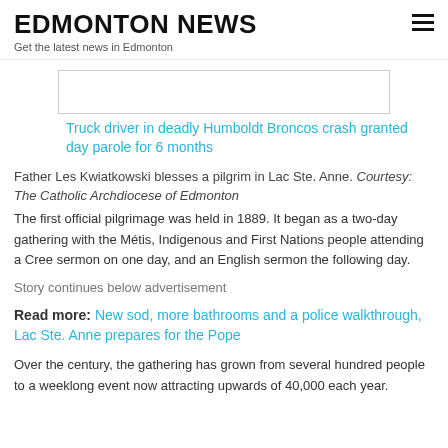EDMONTON NEWS
Get the latest news in Edmonton
[Figure (other): Thumbnail image placeholder box for linked article]
Truck driver in deadly Humboldt Broncos crash granted day parole for 6 months
Father Les Kwiatkowski blesses a pilgrim in Lac Ste. Anne. Courtesy: The Catholic Archdiocese of Edmonton
The first official pilgrimage was held in 1889. It began as a two-day gathering with the Métis, Indigenous and First Nations people attending a Cree sermon on one day, and an English sermon the following day.
Story continues below advertisement
Read more: New sod, more bathrooms and a police walkthrough, Lac Ste. Anne prepares for the Pope
Over the century, the gathering has grown from several hundred people to a weeklong event now attracting upwards of 40,000 each year.